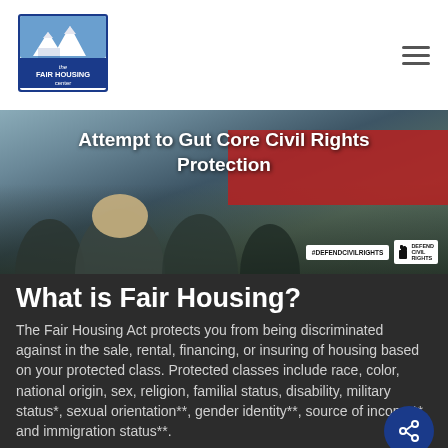[Figure (logo): The Fair Housing Center logo — blue and white mountain/house graphic with text]
[Figure (photo): Hero image: crowd of protesters at a civil rights demonstration with signs reading #DEFENDCIVILRIGHTS and DEFEND CIVIL RIGHTS, overlaid with text 'Attempt to Gut Core Civil Rights Protection']
What is Fair Housing?
The Fair Housing Act protects you from being discriminated against in the sale, rental, financing, or insuring of housing based on your protected class. Protected classes include race, color, national origin, sex, religion, familial status, disability, military status*, sexual orientation**, gender identity**, source of income**, and immigration status**.